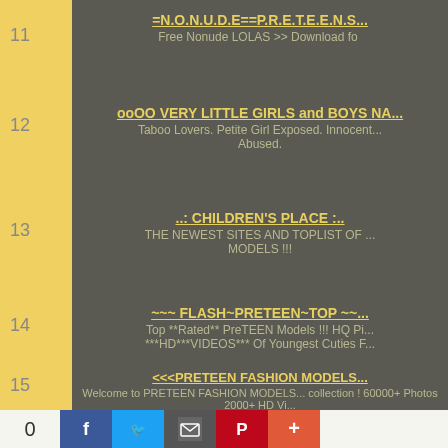11 =N.O.N.U.D.E==P.R.E.T.E.E.N.S... Free Nonude LOLAS >> Download for...
12 ooOO VERY LITTLE GIRLS and BOYS NA... Taboo Lovers. Petite Girl Exposed. Innocent... Abused.
13 ..: CHILDREN'S PLACE :... THE NEWEST SITES AND TOPLIST OF ... MODELS !!!
14 ~~~ FLASH~PRETEEN~TOP ~~... Top **Rated** PreTEEN Models !!! HQ Pi... ***HD***VIDEOS*** Of Youngest Cuties F...
15 <<<PRETEEN FASHION MODELS... Welcome to PRETEEN FASHION MODELS... collection ! 60000+ Photos 2000+ HD Vi...
0